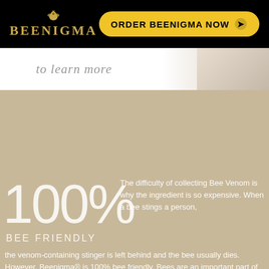[Figure (logo): Beenigma logo with bee icon and gold text on black background, plus 'ORDER BEENIGMA NOW' yellow button]
to learn more
[Figure (photo): Beige/tan textured background area]
100%
BEE FRIENDLY
The difficulty of collecting Bee Venom is why the ingredient is so expensive. When a bee stings a person, the venom-containing stinger is left behind and the bee usually dies. However, Beenigma® is 100% bee friendly. Bees are an important part of